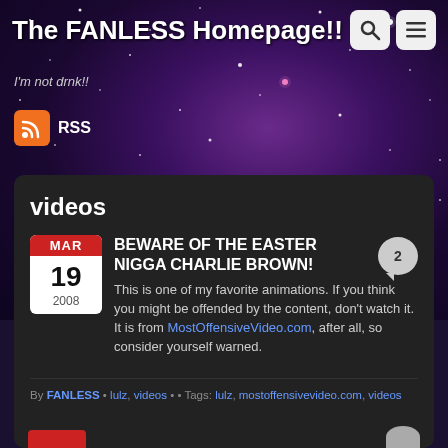The FANLESS Homepage!!
I'm not drnk!!
RSS
videos
BEWARE OF THE EASTER NIGGA CHARLIE BROWN!
This is one of my favorite animations. If you think you might be offended by the content, don't watch it. It is from MostOffensiveVideo.com, after all, so consider yourself warned.
By FANLESS • lulz, videos • • Tags: lulz, mostoffensivevideo.com, videos